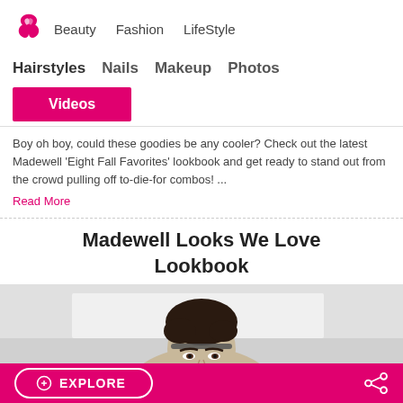Beauty   Fashion   LifeStyle
Hairstyles   Nails   Makeup   Photos
Videos
Boy oh boy, could these goodies be any cooler? Check out the latest Madewell 'Eight Fall Favorites' lookbook and get ready to stand out from the crowd pulling off to-die-for combos! ...
Read More
Madewell Looks We Love Lookbook
[Figure (photo): Person with dark hair, partial view of face, against a light background]
EXPLORE  [share icon]